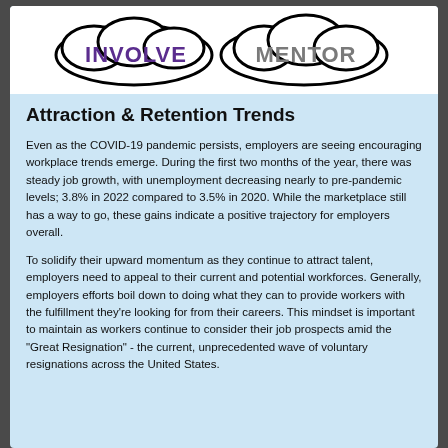[Figure (logo): Logo with cloud shapes containing the words INVOLVE and MENTOR in stylized text]
Attraction & Retention Trends
Even as the COVID-19 pandemic persists, employers are seeing encouraging workplace trends emerge. During the first two months of the year, there was steady job growth, with unemployment decreasing nearly to pre-pandemic levels; 3.8% in 2022 compared to 3.5% in 2020. While the marketplace still has a way to go, these gains indicate a positive trajectory for employers overall.
To solidify their upward momentum as they continue to attract talent, employers need to appeal to their current and potential workforces. Generally, employers efforts boil down to doing what they can to provide workers with the fulfillment they're looking for from their careers. This mindset is important to maintain as workers continue to consider their job prospects amid the "Great Resignation" - the current, unprecedented wave of voluntary resignations across the United States.